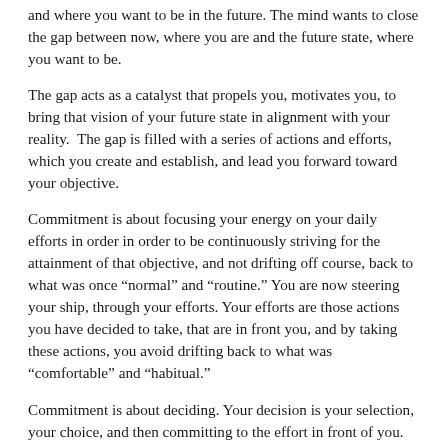and where you want to be in the future. The mind wants to close the gap between now, where you are and the future state, where you want to be.
The gap acts as a catalyst that propels you, motivates you, to bring that vision of your future state in alignment with your reality. The gap is filled with a series of actions and efforts, which you create and establish, and lead you forward toward your objective.
Commitment is about focusing your energy on your daily efforts in order in order to be continuously striving for the attainment of that objective, and not drifting off course, back to what was once “normal” and “routine.” You are now steering your ship, through your efforts. Your efforts are those actions you have decided to take, that are in front you, and by taking these actions, you avoid drifting back to what was “comfortable” and “habitual.”
Commitment is about deciding. Your decision is your selection, your choice, and then committing to the effort in front of you. Commitment is not simply about psyching yourself up with daily doses of affirmations and positive thinking and working even harder. Commitment is about a willingness to review what you